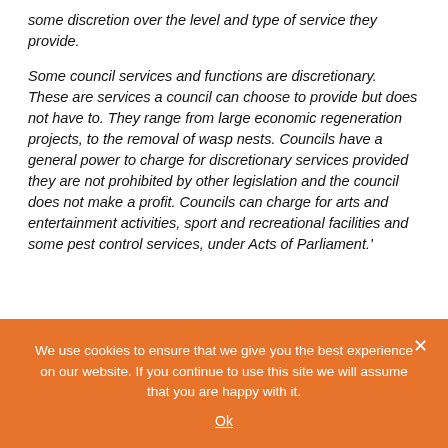some discretion over the level and type of service they provide.
Some council services and functions are discretionary. These are services a council can choose to provide but does not have to. They range from large economic regeneration projects, to the removal of wasp nests. Councils have a general power to charge for discretionary services provided they are not prohibited by other legislation and the council does not make a profit. Councils can charge for arts and entertainment activities, sport and recreational facilities and some pest control services, under Acts of Parliament.'
We use cookies to ensure that we give you the best experience on our website. If you continue to use this site we will assume that you are happy with it.
Ok